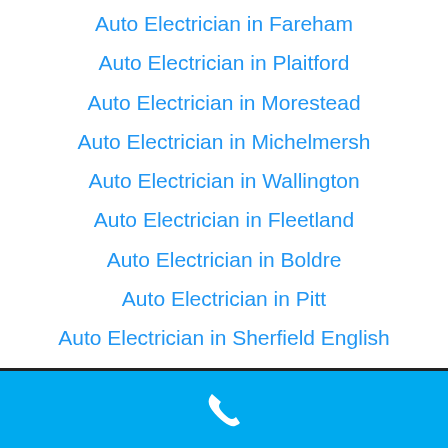Auto Electrician in Fareham
Auto Electrician in Plaitford
Auto Electrician in Morestead
Auto Electrician in Michelmersh
Auto Electrician in Wallington
Auto Electrician in Fleetland
Auto Electrician in Boldre
Auto Electrician in Pitt
Auto Electrician in Sherfield English
Auto Electrician in Cowes
[Figure (other): Blue footer bar with a white telephone handset icon]